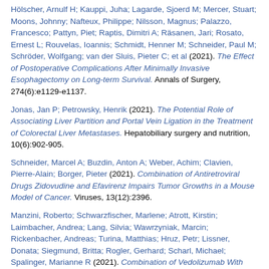Hölscher, Arnulf H; Kauppi, Juha; Lagarde, Sjoerd M; Mercer, Stuart; Moons, Johnny; Nafteux, Philippe; Nilsson, Magnus; Palazzo, Francesco; Pattyn, Piet; Raptis, Dimitri A; Räsanen, Jari; Rosato, Ernest L; Rouvelas, Ioannis; Schmidt, Henner M; Schneider, Paul M; Schröder, Wolfgang; van der Sluis, Pieter C; et al (2021). The Effect of Postoperative Complications After Minimally Invasive Esophagectomy on Long-term Survival. Annals of Surgery, 274(6):e1129-e1137.
Jonas, Jan P; Petrowsky, Henrik (2021). The Potential Role of Associating Liver Partition and Portal Vein Ligation in the Treatment of Colorectal Liver Metastases. Hepatobiliary surgery and nutrition, 10(6):902-905.
Schneider, Marcel A; Buzdin, Anton A; Weber, Achim; Clavien, Pierre-Alain; Borger, Pieter (2021). Combination of Antiretroviral Drugs Zidovudine and Efavirenz Impairs Tumor Growths in a Mouse Model of Cancer. Viruses, 13(12):2396.
Manzini, Roberto; Schwarzfischer, Marlene; Atrott, Kirstin; Laimbacher, Andrea; Lang, Silvia; Wawrzyniak, Marcin; Rickenbacher, Andreas; Turina, Matthias; Hruz, Petr; Lissner, Donata; Siegmund, Britta; Rogler, Gerhard; Scharl, Michael; Spalinger, Marianne R (2021). Combination of Vedolizumab With